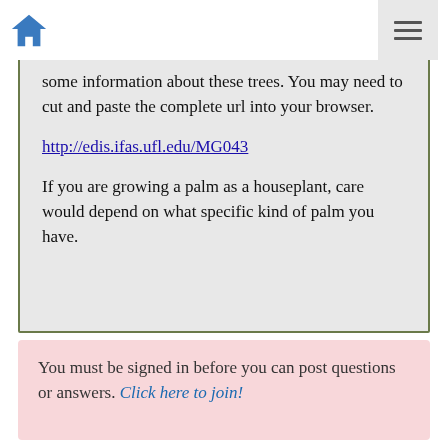Home | Menu
some information about these trees. You may need to cut and paste the complete url into your browser.
http://edis.ifas.ufl.edu/MG043
If you are growing a palm as a houseplant, care would depend on what specific kind of palm you have.
You must be signed in before you can post questions or answers. Click here to join!